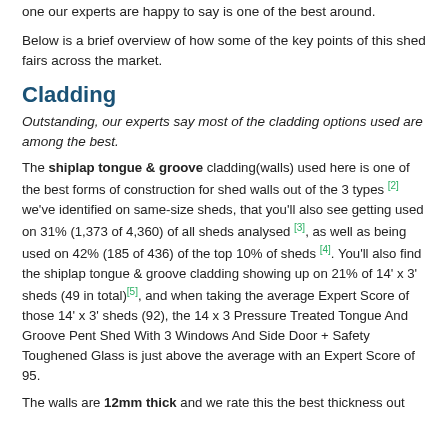one our experts are happy to say is one of the best around.
Below is a brief overview of how some of the key points of this shed fairs across the market.
Cladding
Outstanding, our experts say most of the cladding options used are among the best.
The shiplap tongue & groove cladding(walls) used here is one of the best forms of construction for shed walls out of the 3 types [2] we've identified on same-size sheds, that you'll also see getting used on 31% (1,373 of 4,360) of all sheds analysed [3], as well as being used on 42% (185 of 436) of the top 10% of sheds [4]. You'll also find the shiplap tongue & groove cladding showing up on 21% of 14' x 3' sheds (49 in total) [5], and when taking the average Expert Score of those 14' x 3' sheds (92), the 14 x 3 Pressure Treated Tongue And Groove Pent Shed With 3 Windows And Side Door + Safety Toughened Glass is just above the average with an Expert Score of 95.
The walls are 12mm thick and we rate this the best thickness out